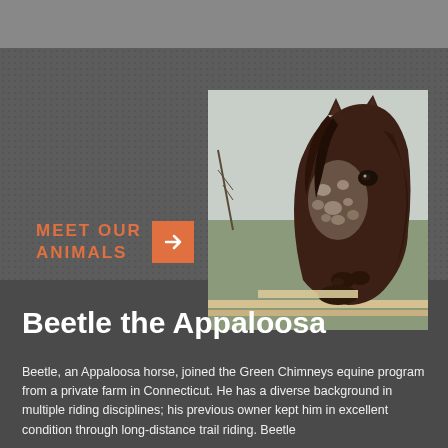[Figure (photo): Close-up portrait photo of Beetle the Appaloosa horse, a dark brown horse with white speckled markings on its face and neck, looking toward the camera with ears up, outdoor farm background with bare trees and a building.]
MEET OUR ANIMALS →
Beetle the Appaloosa
Beetle, an Appaloosa horse, joined the Green Chimneys equine program from a private farm in Connecticut. He has a diverse background in multiple riding disciplines; his previous owner kept him in excellent condition through long-distance trail riding. Beetle